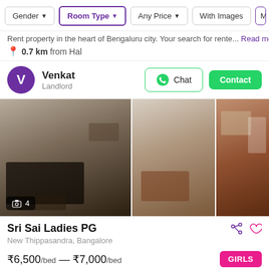Gender | Room Type | Any Price | With Images | M...
Rent property in the heart of Bengaluru city. Your search for rente... Read more
0.7 km from Hal
Venkat
Landlord
[Figure (photo): Three photos of a PG room interior showing beds and furniture]
Sri Sai Ladies PG
New Thippasandra, Bangalore
₹6,500/bed — ₹7,000/bed
GIRLS
TRIPLE SHARING   DOUBLE SHARING   PRIVATE ROOM